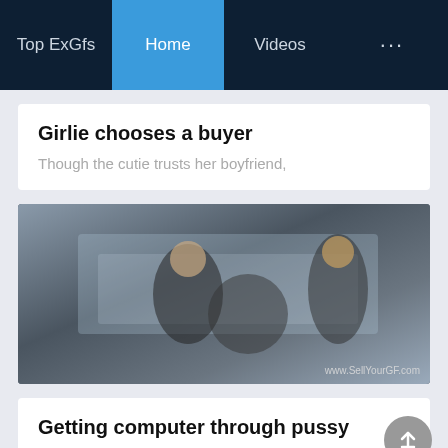Top ExGfs  Home  Videos  ...
Girlie chooses a buyer
Though the cutie trusts her boyfriend,
[Figure (photo): Video thumbnail showing people on a bed, watermark reads www.SellYourGF.com]
Getting computer through pussy
The dude simply craved for a new